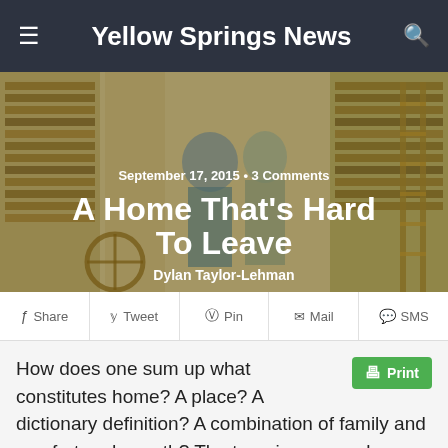Yellow Springs News
[Figure (photo): Two people standing in front of bookshelves filled with books, with a wooden ladder visible on the right side.]
September 17, 2015 • 3 Comments
A Home That's Hard To Leave
Dylan Taylor-Lehman
f Share  Tweet  Pin  Mail  SMS
How does one sum up what constitutes home? A place? A dictionary definition? A combination of family and comfort and growth? The term is as complex as the sensation it attempts to define.
“Perhaps home is not a place but an irrevocable